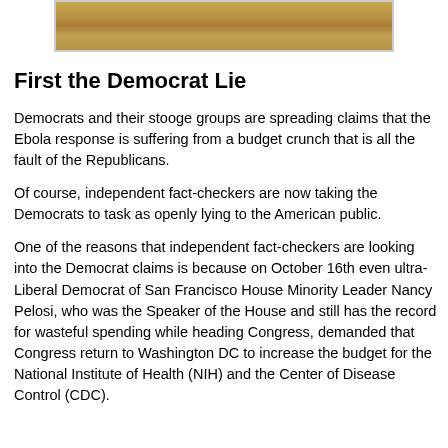[Figure (photo): Partial photo showing a tan/brown textured landscape or ground surface, cropped at the top of the page.]
First the Democrat Lie
Democrats and their stooge groups are spreading claims that the Ebola response is suffering from a budget crunch that is all the fault of the Republicans.
Of course, independent fact-checkers are now taking the Democrats to task as openly lying to the American public.
One of the reasons that independent fact-checkers are looking into the Democrat claims is because on October 16th even ultra-Liberal Democrat of San Francisco House Minority Leader Nancy Pelosi, who was the Speaker of the House and still has the record for wasteful spending while heading Congress, demanded that Congress return to Washington DC to increase the budget for the National Institute of Health (NIH) and the Center of Disease Control (CDC).